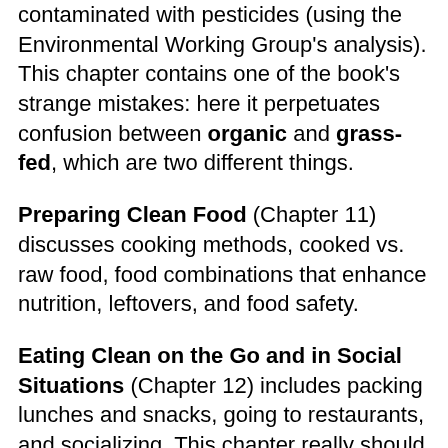contaminated with pesticides (using the Environmental Working Group's analysis). This chapter contains one of the book's strange mistakes: here it perpetuates confusion between organic and grass-fed, which are two different things.
Preparing Clean Food (Chapter 11) discusses cooking methods, cooked vs. raw food, food combinations that enhance nutrition, leftovers, and food safety.
Eating Clean on the Go and in Social Situations (Chapter 12) includes packing lunches and snacks, going to restaurants, and socializing. This chapter really should have explained that there is no such thing as clean eating in restaurants: It should have explained why, and then suggested a few